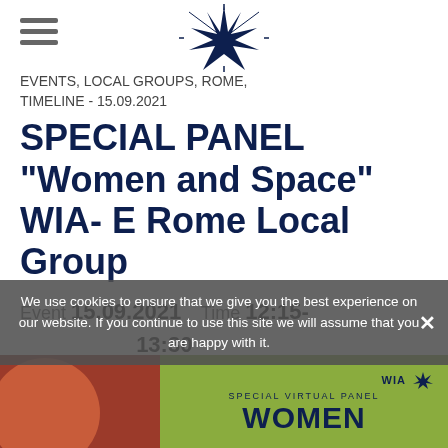[Figure (logo): Eight-pointed star logo in dark navy blue, centered at top of page]
EVENTS, LOCAL GROUPS, ROME, TIMELINE - 15.09.2021
SPECIAL PANEL "Women and Space" WIA- E Rome Local Group
Event 15.09.2021    Time 12:15-13:30
Location Online
We use cookies to ensure that we give you the best experience on our website. If you continue to use this site we will assume that you are happy with it.
[Figure (illustration): Bottom promotional banner showing WIA Special Virtual Panel Women and... text on olive green background with dark red left panel]